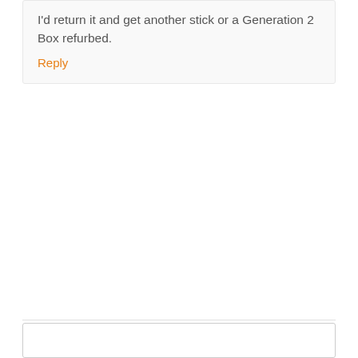I'd return it and get another stick or a Generation 2 Box refurbed.
Reply